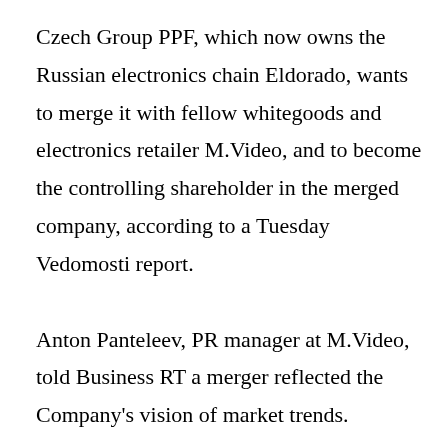Czech Group PPF, which now owns the Russian electronics chain Eldorado, wants to merge it with fellow whitegoods and electronics retailer M.Video, and to become the controlling shareholder in the merged company, according to a Tuesday Vedomosti report.
Anton Panteleev, PR manager at M.Video, told Business RT a merger reflected the Company's vision of market trends.